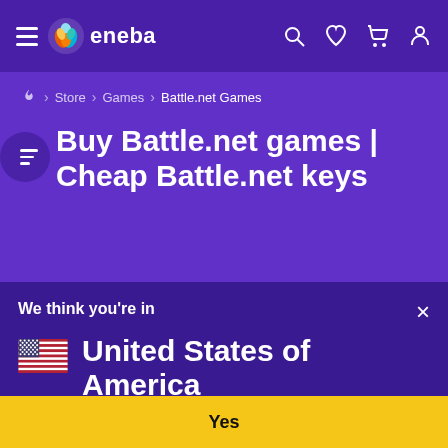eneba — navigation bar with hamburger menu, logo, search, wishlist, cart, and profile icons
Store > Games > Battle.net Games
Buy Battle.net games | Cheap Battle.net keys
We think you're in
United States of America
Language: English US
Currency: US Dollar ($)
Would you like to see a local version of the site?
Yes